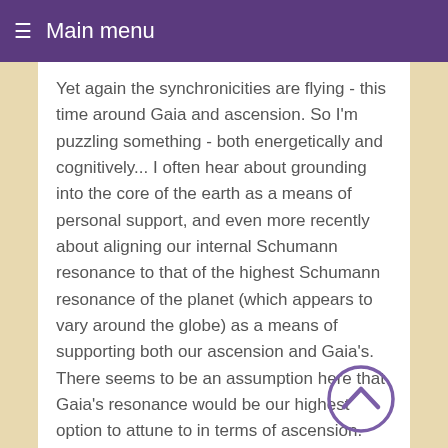≡ Main menu
Yet again the synchronicities are flying - this time around Gaia and ascension. So I'm puzzling something - both energetically and cognitively... I often hear about grounding into the core of the earth as a means of personal support, and even more recently about aligning our internal Schumann resonance to that of the highest Schumann resonance of the planet (which appears to vary around the globe) as a means of supporting both our ascension and Gaia's. There seems to be an assumption here that Gaia's resonance would be our highest option to attune to in terms of ascension.
I totally resonate with your assertion that "Gaia does not need this reality anymore. She is moving on." I also see how our great pockets of